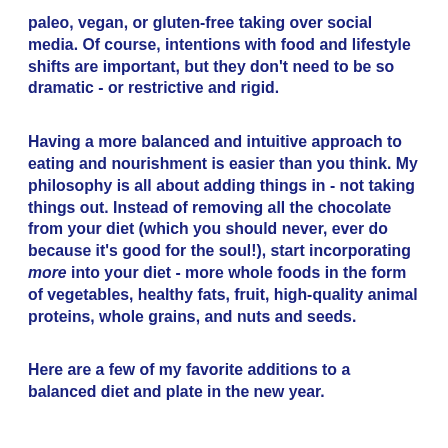paleo, vegan, or gluten-free taking over social media. Of course, intentions with food and lifestyle shifts are important, but they don't need to be so dramatic - or restrictive and rigid.
Having a more balanced and intuitive approach to eating and nourishment is easier than you think. My philosophy is all about adding things in - not taking things out. Instead of removing all the chocolate from your diet (which you should never, ever do because it's good for the soul!), start incorporating more into your diet - more whole foods in the form of vegetables, healthy fats, fruit, high-quality animal proteins, whole grains, and nuts and seeds.
Here are a few of my favorite additions to a balanced diet and plate in the new year.